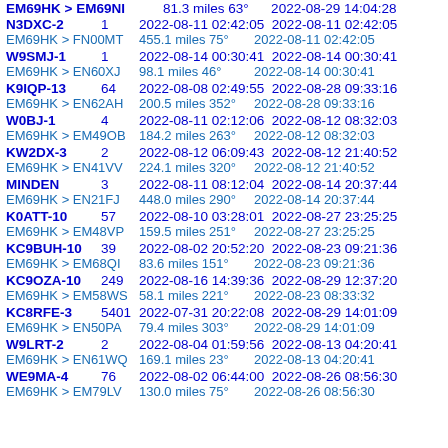EM69HK > EM69NI  81.3 miles 63°  2022-08-29 14:04:28
N3DXC-2  1  2022-08-11 02:42:05  2022-08-11 02:42:05
EM69HK > FN00MT  455.1 miles 75°  2022-08-11 02:42:05
W9SMJ-1  1  2022-08-14 00:30:41  2022-08-14 00:30:41
EM69HK > EN60XJ  98.1 miles 46°  2022-08-14 00:30:41
K9IQP-13  64  2022-08-08 02:49:55  2022-08-28 09:33:16
EM69HK > EN62AH  200.5 miles 352°  2022-08-28 09:33:16
W0BJ-1  4  2022-08-11 02:12:06  2022-08-12 08:32:03
EM69HK > EM49OB  184.2 miles 263°  2022-08-12 08:32:03
KW2DX-3  2  2022-08-12 06:09:43  2022-08-12 21:40:52
EM69HK > EN41VV  224.1 miles 320°  2022-08-12 21:40:52
MINDEN  3  2022-08-11 08:12:04  2022-08-14 20:37:44
EM69HK > EN21FJ  448.0 miles 290°  2022-08-14 20:37:44
K0ATT-10  57  2022-08-10 03:28:01  2022-08-27 23:25:25
EM69HK > EM48VP  159.5 miles 251°  2022-08-27 23:25:25
KC9BUH-10  39  2022-08-02 20:52:20  2022-08-23 09:21:36
EM69HK > EM68QI  83.6 miles 151°  2022-08-23 09:21:36
KC9OZA-10  249  2022-08-16 14:39:36  2022-08-29 12:37:20
EM69HK > EM58WS  58.1 miles 221°  2022-08-23 08:33:32
KC8RFE-3  5401  2022-07-31 20:22:08  2022-08-29 14:01:09
EM69HK > EN50PA  79.4 miles 303°  2022-08-29 14:01:09
W9LRT-2  2  2022-08-04 01:59:56  2022-08-13 04:20:41
EM69HK > EN61WQ  169.1 miles 23°  2022-08-13 04:20:41
WE9MA-4  76  2022-08-02 06:44:00  2022-08-26 08:56:30
EM69HK > EM79LV  130.0 miles 75°  2022-08-26 08:56:30